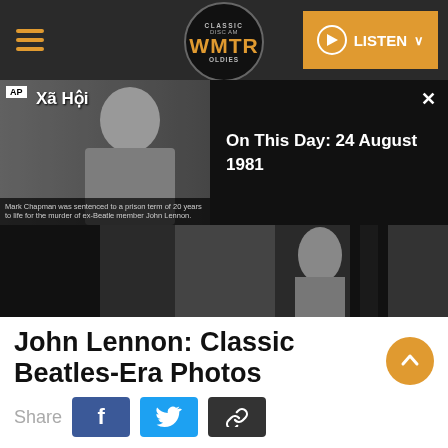[Figure (screenshot): WMTR Classic Oldies radio navigation bar with hamburger menu, circular logo, and orange LISTEN button]
[Figure (screenshot): AP news video panel showing a Vietnamese news clip labeled 'Xã Hội' on the left, and 'On This Day: 24 August 1981' text on the right black panel with an X close button]
Mark Chapman was sentenced to a prison term of 20 years to life for the murder of ex-Beatle member John Lennon.
[Figure (photo): Black and white photograph strip showing a person partially visible, dark tones]
John Lennon: Classic Beatles-Era Photos
[Figure (other): Orange circular scroll-to-top button with upward chevron arrow]
Share
[Figure (other): Social share buttons: Facebook (blue f), Twitter (blue bird), and link/copy (dark chain icon)]
14th October 1963: The Beatles (top to bottom) Paul McCartney, John Lennon (1940 - 1980),